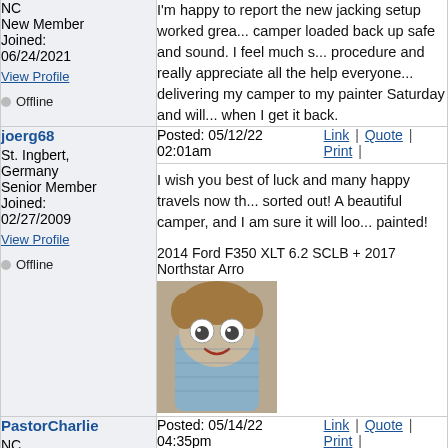NC
New Member
Joined: 06/24/2021
View Profile
Offline
I'm happy to report the new jacking setup worked great, camper loaded back up safe and sound. I feel much safer with the procedure and really appreciate all the help everyone gave. I am delivering my camper to my painter Saturday and will post pictures when I get it back.
joerg68
St. Ingbert, Germany
Senior Member
Joined: 02/27/2009
View Profile
Offline
Posted: 05/12/22 02:01am    Link | Quote | Print |
I wish you best of luck and many happy travels now th... sorted out! A beautiful camper, and I am sure it will loo... painted!
2014 Ford F350 XLT 6.2 SCLB + 2017 Northstar Arro
[Figure (photo): Avatar image of a crocheted doll/puppet with curly yarn hair and button eyes, blue body]
PastorCharlie
Posted: 05/14/22 04:35pm    Link | Quote | Print |
NC
Senior Member
House movers use a three-point lifting system. More s